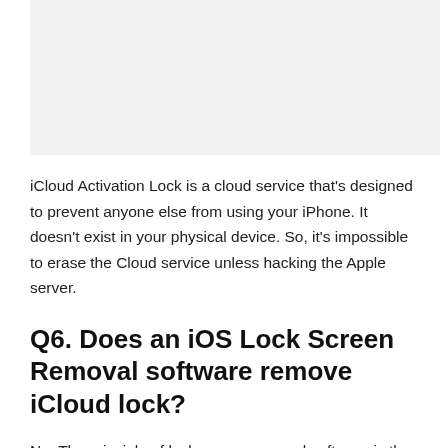[Figure (other): Image placeholder / screenshot area (light gray background)]
iCloud Activation Lock is a cloud service that's designed to prevent anyone else from using your iPhone. It doesn't exist in your physical device. So, it's impossible to erase the Cloud service unless hacking the Apple server.
Q6. Does an iOS Lock Screen Removal software remove iCloud lock?
No. The principle of lock screen removal software is the same as iTunes. This kind of software will download the